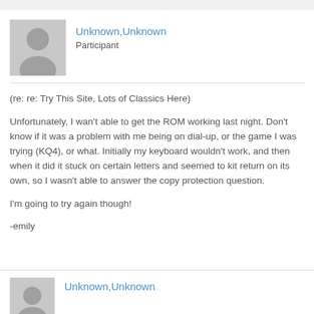Unknown,Unknown
Participant
(re: re: Try This Site, Lots of Classics Here)

Unfortunately, I wan't able to get the ROM working last night. Don't know if it was a problem with me being on dial-up, or the game I was trying (KQ4), or what. Initially my keyboard wouldn't work, and then when it did it stuck on certain letters and seemed to kit return on its own, so I wasn't able to answer the copy protection question.

I'm going to try again though!

-emily
January 17, 2004 at 12:33 am  REPLY  #27792
Unknown,Unknown